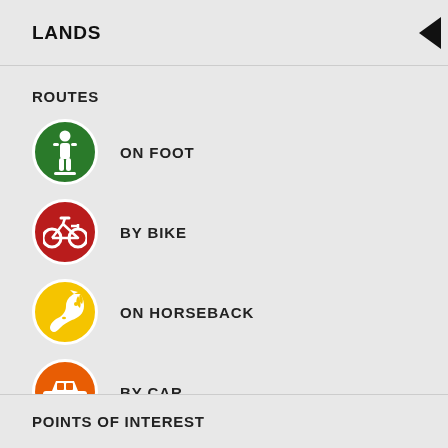LANDS
ROUTES
ON FOOT
BY BIKE
ON HORSEBACK
BY CAR
POINTS OF INTEREST